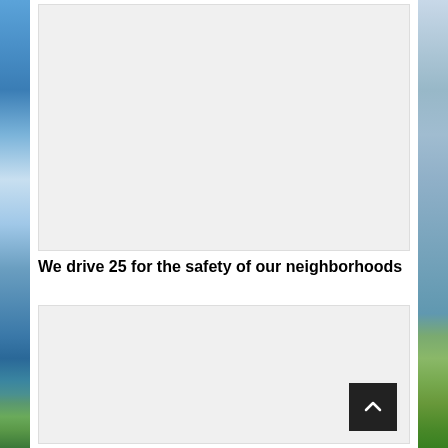[Figure (photo): Large image placeholder with light gray background, top section of page]
We drive 25 for the safety of our neighborhoods
[Figure (photo): Large image placeholder with light gray background, bottom section of page]